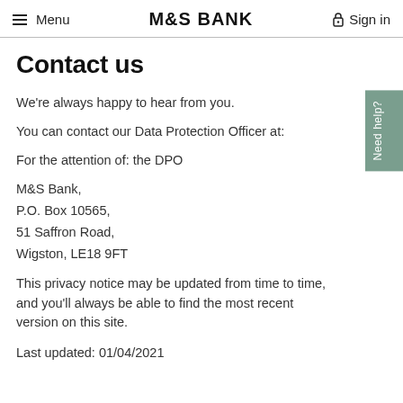Menu | M&S BANK | Sign in
Contact us
We're always happy to hear from you.
You can contact our Data Protection Officer at:
For the attention of: the DPO
M&S Bank,
P.O. Box 10565,
51 Saffron Road,
Wigston, LE18 9FT
This privacy notice may be updated from time to time, and you'll always be able to find the most recent version on this site.
Last updated: 01/04/2021